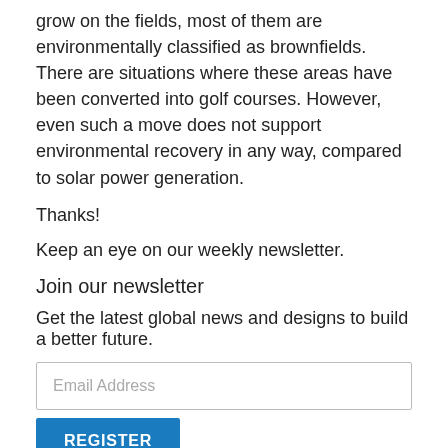grow on the fields, most of them are environmentally classified as brownfields. There are situations where these areas have been converted into golf courses. However, even such a move does not support environmental recovery in any way, compared to solar power generation.
Thanks!
Keep an eye on our weekly newsletter.
Join our newsletter
Get the latest global news and designs to build a better future.
Email Address
REGISTER
REGISTER
With the production of solar energy, landfills can easily be